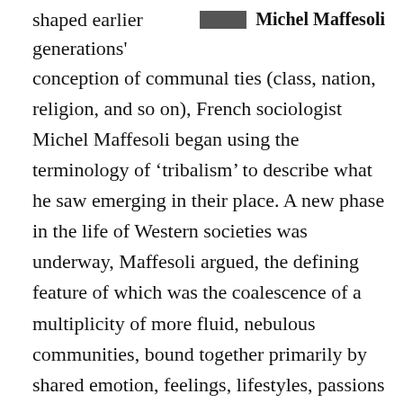shaped earlier generations'
[Figure (other): A dark gray/black rectangular color block followed by the name Michel Maffesoli in bold.]
conception of communal ties (class, nation, religion, and so on), French sociologist Michel Maffesoli began using the terminology of ‘tribalism’ to describe what he saw emerging in their place. A new phase in the life of Western societies was underway, Maffesoli argued, the defining feature of which was the coalescence of a multiplicity of more fluid, nebulous communities, bound together primarily by shared emotion, feelings, lifestyles, passions and tastes. These social formations, whose existence, Maffesoli contends, refutes the prevailing belief in the rise of